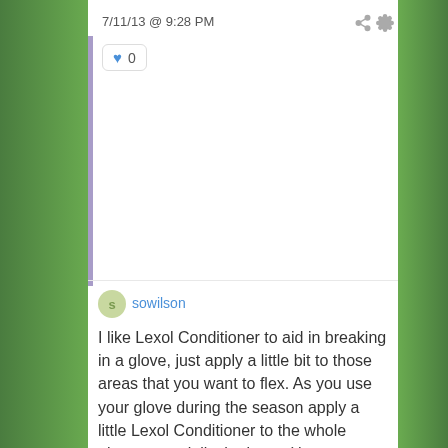7/11/13 @ 9:28 PM
0
sowilson
I like Lexol Conditioner to aid in breaking in a glove, just apply a little bit to those areas that you want to flex.  As you use your glove during the season apply a little Lexol Conditioner to the whole glove, especially the laces (they get brittle and break when they dry out).  Dirt is the enemy of your catchers mitt, so wipe off the glove with a towel (damp is best) after each use.  Once the glove is dry, take a medium bristle brush